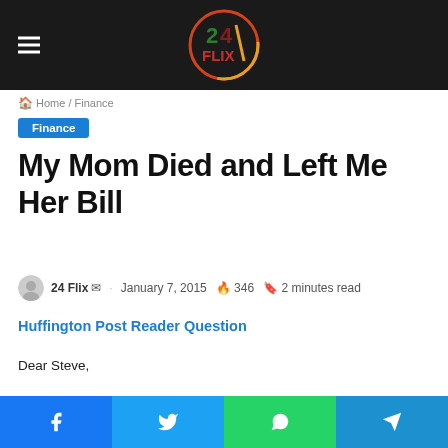24 Flix — website header with logo and hamburger menu
Home / Finance
Finance
My Mom Died and Left Me Her Bill
24 Flix  ·  January 7, 2015  🔥 346  📖 2 minutes read
Huffington Post Reader Question
Dear Steve,